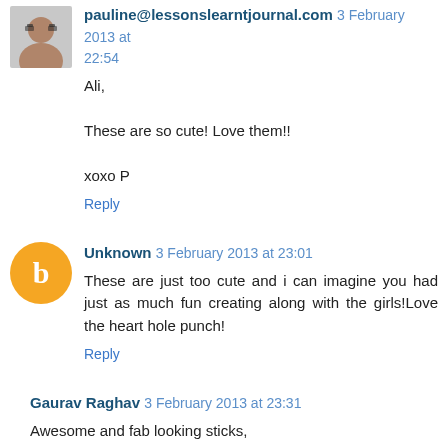pauline@lessonslearntjournal.com 3 February 2013 at 22:54
Ali,

These are so cute! Love them!!

xoxo P
Reply
Unknown 3 February 2013 at 23:01
These are just too cute and i can imagine you had just as much fun creating along with the girls!Love the heart hole punch!
Reply
Gaurav Raghav 3 February 2013 at 23:31
Awesome and fab looking sticks,
Reply